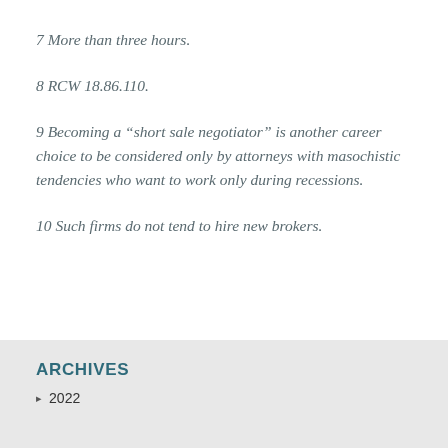7 More than three hours.
8 RCW 18.86.110.
9 Becoming a “short sale negotiator” is another career choice to be considered only by attorneys with masochistic tendencies who want to work only during recessions.
10 Such firms do not tend to hire new brokers.
ARCHIVES
2022